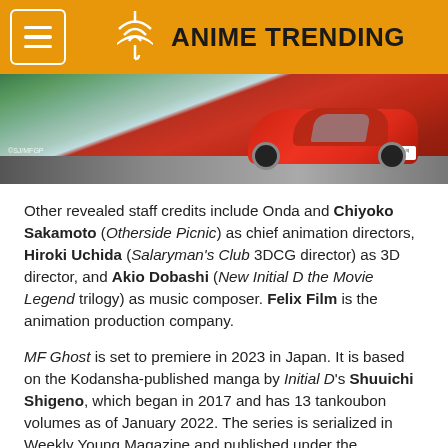ANIME TRENDING
[Figure (photo): A red sports car (MF Ghost) photographed from a low angle on a road, with a green roadside background. Watermark reads ©SJ/MFGP.]
Other revealed staff credits include Onda and Chiyoko Sakamoto (Otherside Picnic) as chief animation directors, Hiroki Uchida (Salaryman's Club 3DCG director) as 3D director, and Akio Dobashi (New Initial D the Movie Legend trilogy) as music composer. Felix Film is the animation production company.
MF Ghost is set to premiere in 2023 in Japan. It is based on the Kodansha-published manga by Initial D's Shuuichi Shigeno, which began in 2017 and has 13 tankoubon volumes as of January 2022. The series is serialized in Weekly Young Magazine and published under the